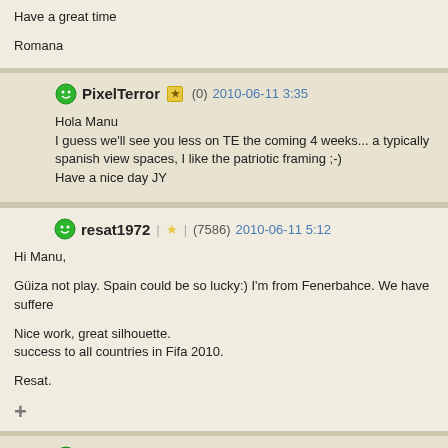Have a great time

Romana
PixelTerror (0) 2010-06-11 3:35
Hola Manu
I guess we'll see you less on TE the coming 4 weeks... a typically spanish view spaces, I like the patriotic framing ;-)
Have a nice day JY
resat1972 (7586) 2010-06-11 5:12
Hi Manu,

Güiza not play. Spain could be so lucky:) I'm from Fenerbahce. We have suffered

Nice work, great silhouette.
success to all countries in Fifa 2010.

Resat.